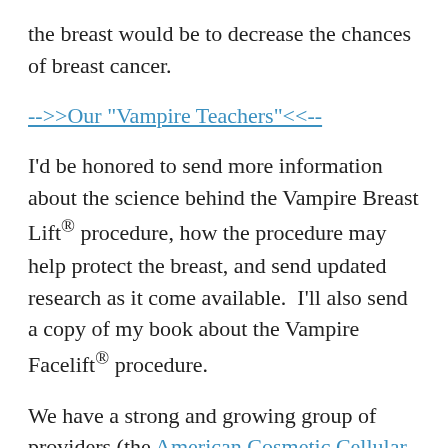the breast would be to decrease the chances of breast cancer.
-->>Our "Vampire Teachers"<<--
I'd be honored to send more information about the science behind the Vampire Breast Lift® procedure, how the procedure may help protect the breast, and send updated research as it come available.  I'll also send a copy of my book about the Vampire Facelift® procedure.
We have a strong and growing group of providers (the American Cosmetic Cellular Medicine Association), which has published medical papers and has more in the works for